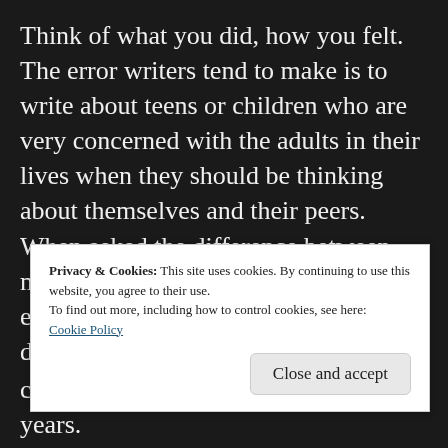Think of what you did, how you felt. The error writers tend to make is to write about teens or children who are very concerned with the adults in their lives when they should be thinking about themselves and their peers. When asked the difference between middle grade and young adult, Holly explains that the readers are very different. You need a protagonist of the appropriate age. Middle grade stories are generally about family and friendship. Harry Potter and Percy Jackson are
Privacy & Cookies: This site uses cookies. By continuing to use this website, you agree to their use.
To find out more, including how to control cookies, see here: Cookie Policy
character looking back at her teen years.